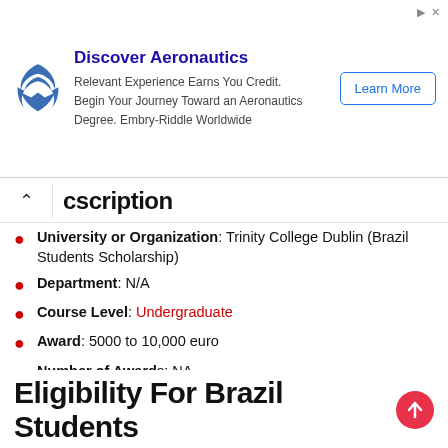[Figure (other): Advertisement banner for Embry-Riddle Aeronautics with eagle logo, text 'Discover Aeronautics. Relevant Experience Earns You Credit. Begin Your Journey Toward an Aeronautics Degree. Embry-Riddle Worldwide', and a 'Learn More' button.]
cscription
University or Organization: Trinity College Dublin (Brazil Students Scholarship)
Department: N/A
Course Level: Undergraduate
Award: 5000 to 10,000 euro
Number of Awards: NA
Access Mode: Online
Nationality: Brazil students
The award can be taken in Ireland
Application Deadline: June 2, 2022.
Eligibility For Brazil Students